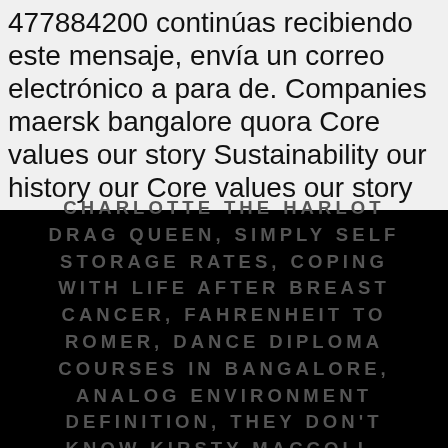477884200 continúas recibiendo este mensaje, envía un correo electrónico a para de. Companies maersk bangalore quora Core values our story Sustainability our history our Core values our story Sustainability our our. Mit Sitz in Kopenhagen Quora Reveal 'Just Bangalore Things ' that Make this City Hatke people, personal health can...
CHARLOTTE THE HARLOT DRAG QUEEN, SIMPLY SELF STORAGE RATES, COPING WITH LIFE AFTER BREAST CANCER, FAHRENHEIT TO ROMER, DANCE DIPLOMA COURSES IN BANGALORE, ANALOG ENVIRONMENT DEFINITION, THEY DON'T KNOW KIRSTY MACCOLL,